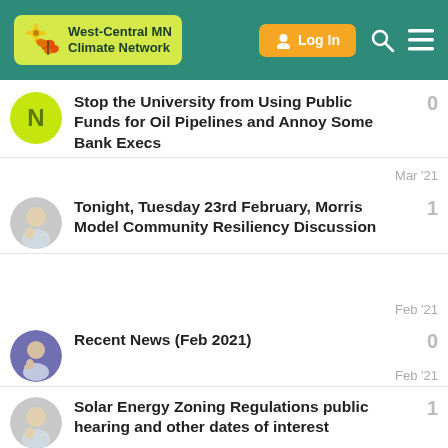West-Central MN Climate Network | Log In
Stop the University from Using Public Funds for Oil Pipelines and Annoy Some Bank Execs
Tonight, Tuesday 23rd February, Morris Model Community Resiliency Discussion
Recent News (Feb 2021)
Solar Energy Zoning Regulations public hearing and other dates of interest